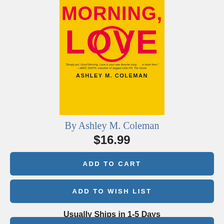[Figure (illustration): Book cover for 'Good Morning, Love' by Ashley M. Coleman. Yellow background with large bold pink/red text reading 'MORNING,' and 'LOVE' (with LOVE having a circular outline), small italic quote text, and author name 'ASHLEY M. COLEMAN' in bold black.]
By Ashley M. Coleman
$16.99
ADD TO CART
ADD TO WISH LIST
Usually Ships in 1-5 Days